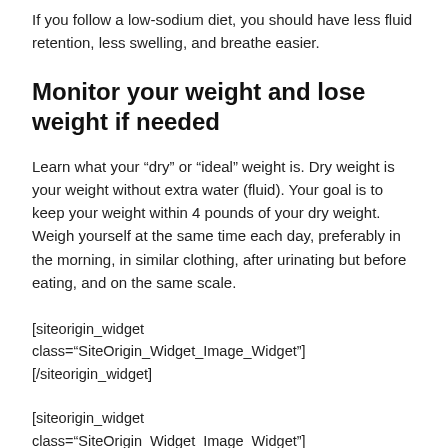If you follow a low-sodium diet, you should have less fluid retention, less swelling, and breathe easier.
Monitor your weight and lose weight if needed
Learn what your “dry” or “ideal” weight is. Dry weight is your weight without extra water (fluid). Your goal is to keep your weight within 4 pounds of your dry weight. Weigh yourself at the same time each day, preferably in the morning, in similar clothing, after urinating but before eating, and on the same scale.
[siteorigin_widget class=“SiteOrigin_Widget_Image_Widget”] [/siteorigin_widget]
[siteorigin_widget class=“SiteOrigin_Widget_Image_Widget”]